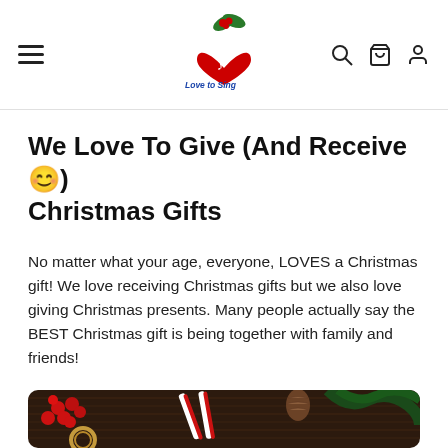Love to Sing — navigation header with logo, hamburger menu, search, cart, and user icons
We Love To Give (And Receive 😊) Christmas Gifts
No matter what your age, everyone, LOVES a Christmas gift! We love receiving Christmas gifts but we also love giving Christmas presents. Many people actually say the BEST Christmas gift is being together with family and friends!
[Figure (photo): Christmas themed photo showing candy canes, red berries, pine cones, pine branches, twine, and wrapped gifts on a dark wooden surface.]